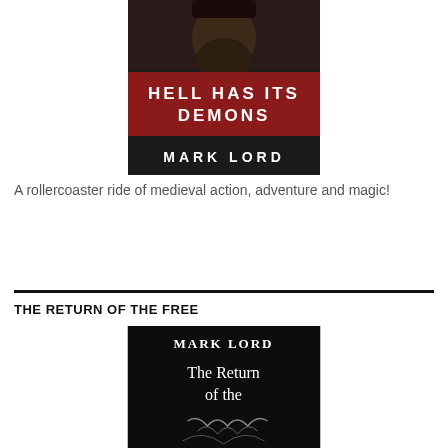[Figure (illustration): Book cover of 'Hell Has Its Demons' by Mark Lord. Dark background with a bearded man's face at top. Red banner with white text reading 'HELL HAS ITS DEMONS' and below it 'MARK LORD'.]
A rollercoaster ride of medieval action, adventure and magic!
THE RETURN OF THE FREE
[Figure (illustration): Book cover of 'The Return of the Free' by Mark Lord. Black background with white serif text reading 'MARK LORD' at top, then 'The Return of the' in the middle, with a partial view of a figure at the bottom.]